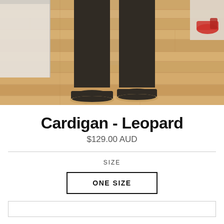[Figure (photo): A photo showing the lower body of a person wearing black pants and black espadrille-style flat shoes, standing on a wooden floor background. There is a white shelf/furniture piece visible on the left and a red shoe visible on a shelf in the top right corner.]
Cardigan - Leopard
$129.00 AUD
SIZE
ONE SIZE